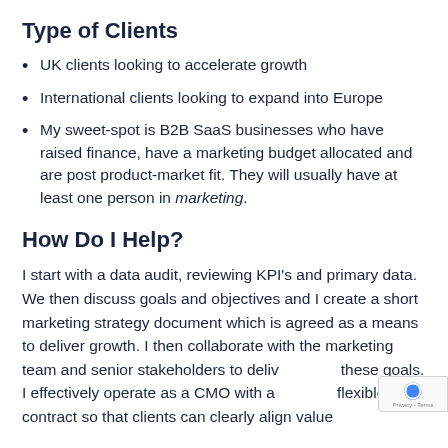Type of Clients
UK clients looking to accelerate growth
International clients looking to expand into Europe
My sweet-spot is B2B SaaS businesses who have raised finance, have a marketing budget allocated and are post product-market fit. They will usually have at least one person in marketing.
How Do I Help?
I start with a data audit, reviewing KPI’s and primary data. We then discuss goals and objectives and I create a short marketing strategy document which is agreed as a means to deliver growth. I then collaborate with the marketing team and senior stakeholders to deliver these goals. I effectively operate as a CMO with a flexible contract so that clients can clearly align value